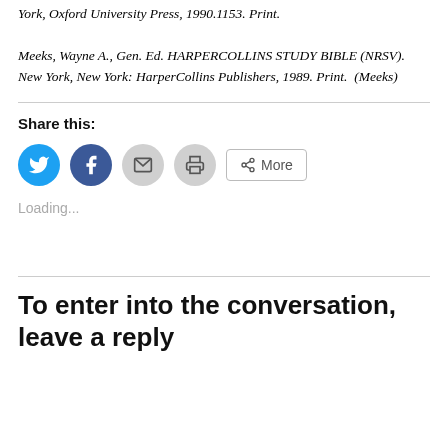York, Oxford University Press, 1990.1153. Print.

Meeks, Wayne A., Gen. Ed. HARPERCOLLINS STUDY BIBLE (NRSV). New York, New York: HarperCollins Publishers, 1989. Print.  (Meeks)
Share this:
[Figure (screenshot): Social share buttons: Twitter (blue circle), Facebook (blue circle), Email (grey circle), Print (grey circle), and a More button with share icon]
Loading...
To enter into the conversation, leave a reply